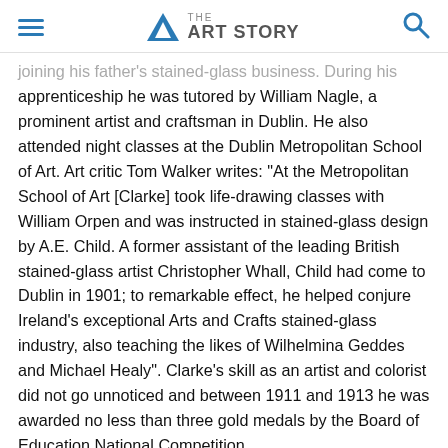THE ART STORY
joining his father's stained-glass business. During his apprenticeship he was tutored by William Nagle, a prominent artist and craftsman in Dublin. He also attended night classes at the Dublin Metropolitan School of Art. Art critic Tom Walker writes: "At the Metropolitan School of Art [Clarke] took life-drawing classes with William Orpen and was instructed in stained-glass design by A.E. Child. A former assistant of the leading British stained-glass artist Christopher Whall, Child had come to Dublin in 1901; to remarkable effect, he helped conjure Ireland's exceptional Arts and Crafts stained-glass industry, also teaching the likes of Wilhelmina Geddes and Michael Healy". Clarke's skill as an artist and colorist did not go unnoticed and between 1911 and 1913 he was awarded no less than three gold medals by the Board of Education National Competition.
After graduating from the Dublin Metropolitan School of